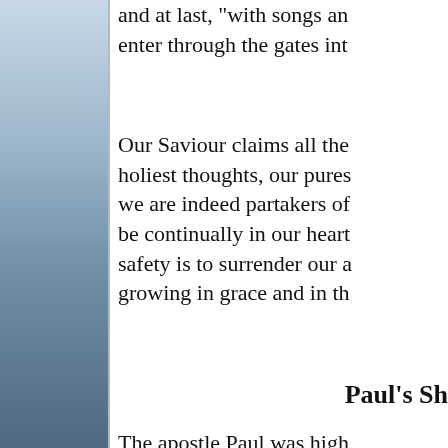and at last, "with songs and enter through the gates into
Our Saviour claims all the holiest thoughts, our purest we are indeed partakers of be continually in our hearts safety is to surrender our al growing in grace and in the
Paul's Sh
The apostle Paul was highl holy vision to the third hea scenes whose glories he wa this did not lead him to boa realized the importance of denial, and plainly declares